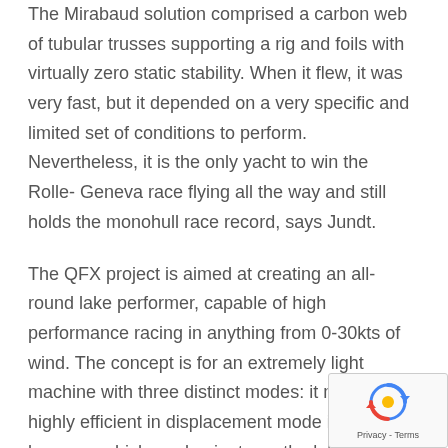The Mirabaud solution comprised a carbon web of tubular trusses supporting a rig and foils with virtually zero static stability. When it flew, it was very fast, but it depended on a very specific and limited set of conditions to perform. Nevertheless, it is the only yacht to win the Rolle- Geneva race flying all the way and still holds the monohull race record, says Jundt.
The QFX project is aimed at creating an all-round lake performer, capable of high performance racing in anything from 0-30kts of wind. The concept is for an extremely light machine with three distinct modes: it must be highly efficient in displacement mode in 5-6kt breezes, which predominate on the lakes; as yacht speed lifts to around 10kts, it would utilise Hugh Welbourn's DSS technology to
[Figure (other): reCAPTCHA widget overlay in the bottom-right corner showing a circular arrow icon and Privacy - Terms text]